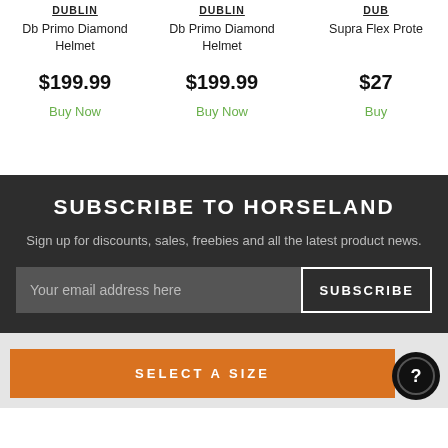DUBLIN
Db Primo Diamond Helmet
$199.99
Buy Now
DUBLIN
Db Primo Diamond Helmet
$199.99
Buy Now
DUB
Supra Flex Prote
$27
Buy
SUBSCRIBE TO HORSELAND
Sign up for discounts, sales, freebies and all the latest product news.
Your email address here
SUBSCRIBE
SELECT A SIZE